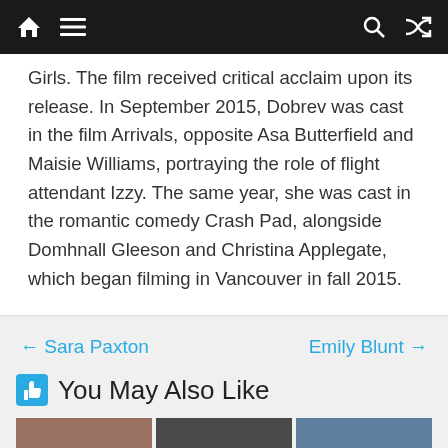[navigation bar with home, menu, search, shuffle icons]
Girls. The film received critical acclaim upon its release. In September 2015, Dobrev was cast in the film Arrivals, opposite Asa Butterfield and Maisie Williams, portraying the role of flight attendant Izzy. The same year, she was cast in the romantic comedy Crash Pad, alongside Domhnall Gleeson and Christina Applegate, which began filming in Vancouver in fall 2015.
← Sara Paxton
Emily Blunt →
You May Also Like
[Figure (photo): Three thumbnail photos of people/celebrities in a row at bottom of page]